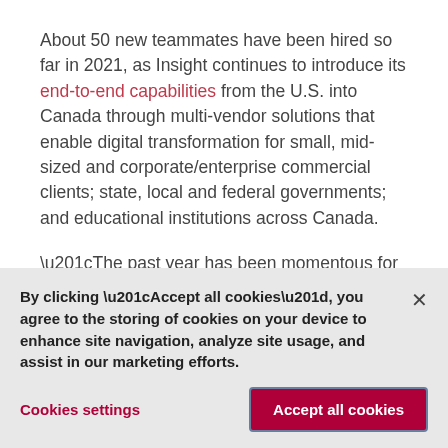About 50 new teammates have been hired so far in 2021, as Insight continues to introduce its end-to-end capabilities from the U.S. into Canada through multi-vendor solutions that enable digital transformation for small, mid-sized and corporate/enterprise commercial clients; state, local and federal governments; and educational institutions across Canada.
“The past year has been momentous for
By clicking “Accept all cookies”, you agree to the storing of cookies on your device to enhance site navigation, analyze site usage, and assist in our marketing efforts.
Cookies settings
Accept all cookies